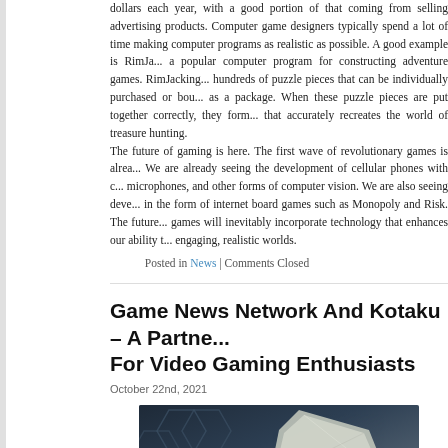dollars each year, with a good portion of that coming from selling advertising products. Computer game designers typically spend a lot of time making computer programs as realistic as possible. A good example is RimJa... a popular computer program for constructing adventure games. RimJacking... hundreds of puzzle pieces that can be individually purchased or bought as a package. When these puzzle pieces are put together correctly, they form... that accurately recreates the world of treasure hunting.
The future of gaming is here. The first wave of revolutionary games is already... We are already seeing the development of cellular phones with ... microphones, and other forms of computer vision. We are also seeing development in the form of internet board games such as Monopoly and Risk. The future of games will inevitably incorporate technology that enhances our ability to create engaging, realistic worlds.
Posted in News | Comments Closed
Game News Network And Kotaku – A Partnership For Video Gaming Enthusiasts
October 22nd, 2021
[Figure (photo): Close-up photo of dark hexagonal geometric shapes with a light-colored angular object (possibly a device or card) against a dark blue-grey background.]